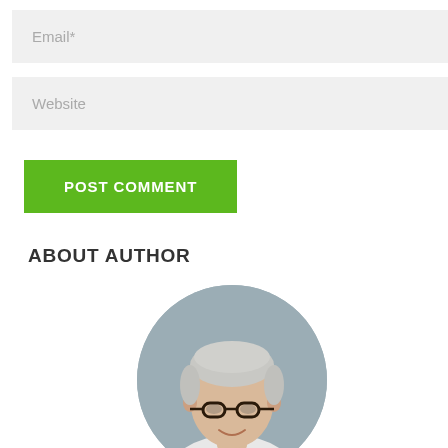Email*
Website
POST COMMENT
ABOUT AUTHOR
[Figure (photo): Circular portrait photo of a middle-aged man with short grey/white hair, wearing glasses and a white shirt, on a grey background]